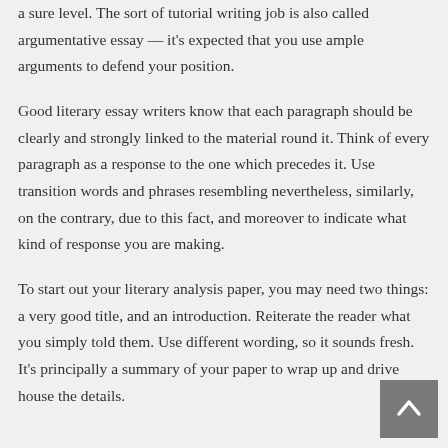a sure level. The sort of tutorial writing job is also called argumentative essay — it's expected that you use ample arguments to defend your position.
Good literary essay writers know that each paragraph should be clearly and strongly linked to the material round it. Think of every paragraph as a response to the one which precedes it. Use transition words and phrases resembling nevertheless, similarly, on the contrary, due to this fact, and moreover to indicate what kind of response you are making.
To start out your literary analysis paper, you may need two things: a very good title, and an introduction. Reiterate the reader what you simply told them. Use different wording, so it sounds fresh. It's principally a summary of your paper to wrap up and drive house the details.